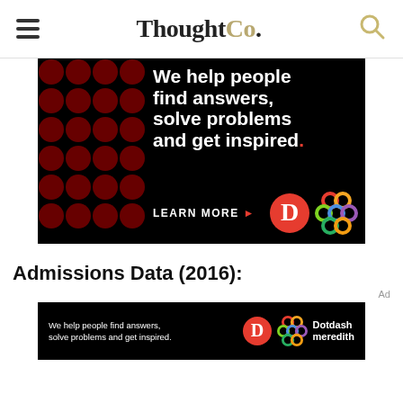ThoughtCo.
[Figure (advertisement): Dark background ad with red dot pattern on left side. White bold text reads: 'We help people find answers, solve problems and get inspired.' with a red period. 'LEARN MORE' in white with red arrow. Dotdash 'D' logo in red circle and colorful Meredith knot logo on right.]
Admissions Data (2016):
Ad
[Figure (advertisement): Small dark background ad banner. White text: 'We help people find answers, solve problems and get inspired.' Dotdash D logo and Dotdash Meredith logo with text on right.]